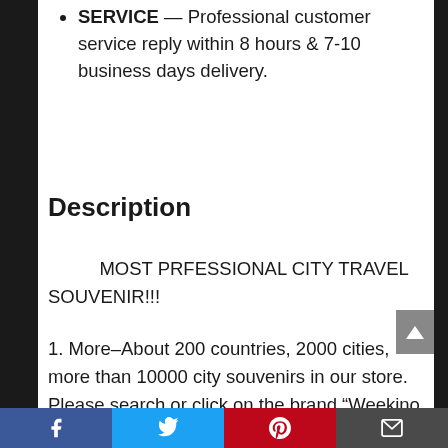SERVICE — Professional customer service reply within 8 hours & 7-10 business days delivery.
Description
MOST PRFESSIONAL CITY TRAVEL SOUVENIR!!!
1. More–About 200 countries, 2000 cities, more than 10000 city souvenirs in our store. Please search or click on the brand “Weekino Souvenir” to view more.
Social share buttons: Facebook, Twitter, Pinterest, Email